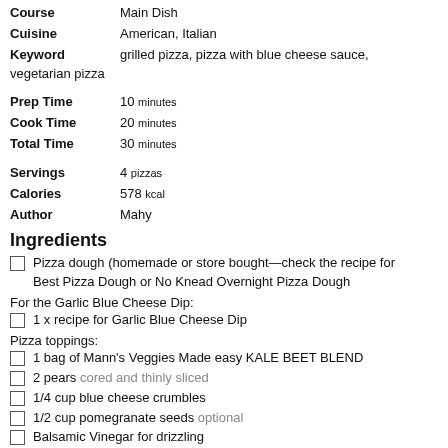Course: Main Dish
Cuisine: American, Italian
Keyword: grilled pizza, pizza with blue cheese sauce, vegetarian pizza
Prep Time: 10 minutes
Cook Time: 20 minutes
Total Time: 30 minutes
Servings: 4 pizzas
Calories: 578 kcal
Author: Mahy
Ingredients
Pizza dough (homemade or store bought—check the recipe for Best Pizza Dough or No Knead Overnight Pizza Dough
For the Garlic Blue Cheese Dip:
1 x recipe for Garlic Blue Cheese Dip
Pizza toppings:
1 bag of Mann's Veggies Made easy KALE BEET BLEND
2 pears cored and thinly sliced
1/4 cup blue cheese crumbles
1/2 cup pomegranate seeds optional
Balsamic Vinegar for drizzling
Instructions